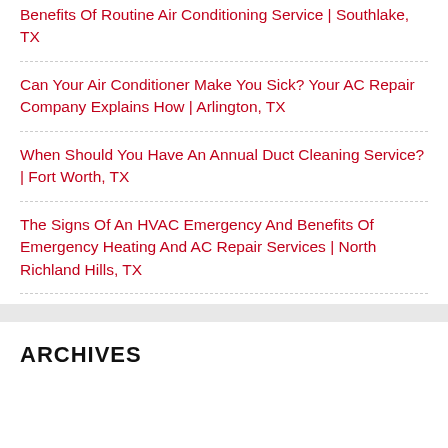Benefits Of Routine Air Conditioning Service | Southlake, TX
Can Your Air Conditioner Make You Sick? Your AC Repair Company Explains How | Arlington, TX
When Should You Have An Annual Duct Cleaning Service? | Fort Worth, TX
The Signs Of An HVAC Emergency And Benefits Of Emergency Heating And AC Repair Services | North Richland Hills, TX
ARCHIVES